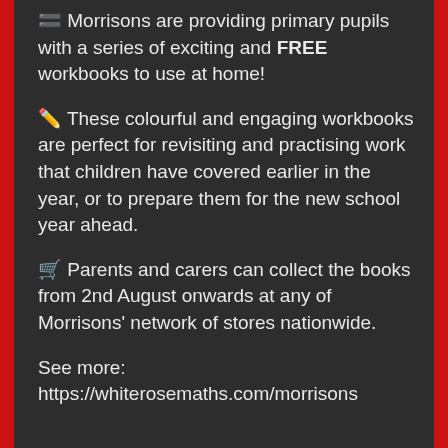🟰 Morrisons are providing primary pupils with a series of exciting and FREE workbooks to use at home!
✏️ These colourful and engaging workbooks are perfect for revisiting and practising work that children have covered earlier in the year, or to prepare them for the new school year ahead.
🛒 Parents and carers can collect the books from 2nd August onwards at any of Morrisons' network of stores nationwide.
See more: https://whiterosemaths.com/morrisons